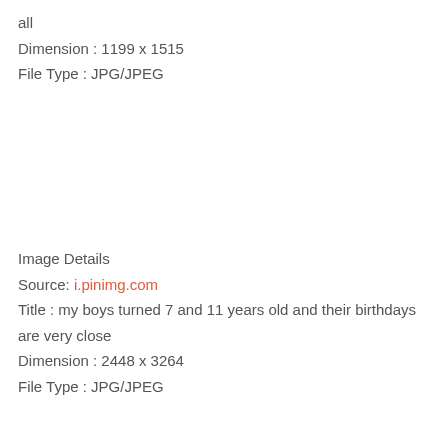all
Dimension : 1199 x 1515
File Type : JPG/JPEG
Image Details
Source: i.pinimg.com
Title : my boys turned 7 and 11 years old and their birthdays are very close
Dimension : 2448 x 3264
File Type : JPG/JPEG